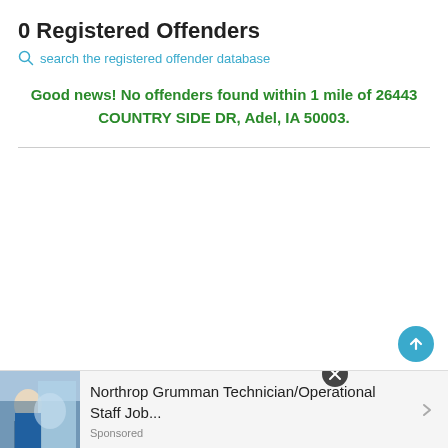0 Registered Offenders
search the registered offender database
Good news! No offenders found within 1 mile of 26443 COUNTRY SIDE DR, Adel, IA 50003.
[Figure (screenshot): Advertisement banner: Northrop Grumman Technician/Operational Staff Job... Sponsored]
[Figure (screenshot): Scroll to top button (blue circle with upward arrow)]